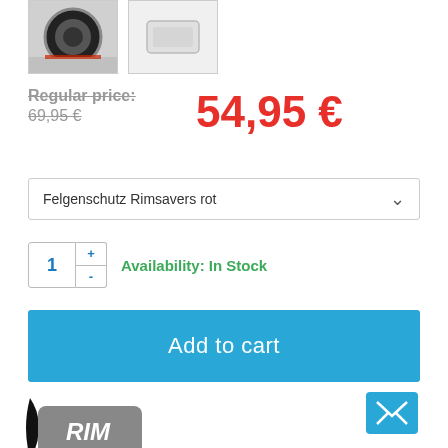[Figure (photo): Two product thumbnail images: left shows a car wheel/tire, right shows what appears to be a white product (rimsaver)]
Regular price: 69,95 €   54,95 €
Felgenschutz Rimsavers rot
1  +  -  Availability: In Stock
Add to cart
[Figure (logo): RIM brand logo — dark gray card shape with italic RIM text in white, with a black swoosh on the left]
[Figure (illustration): Blue envelope/email icon on blue square background]
Your benefits:
Especially for wheels with flat faced wheel edge (level